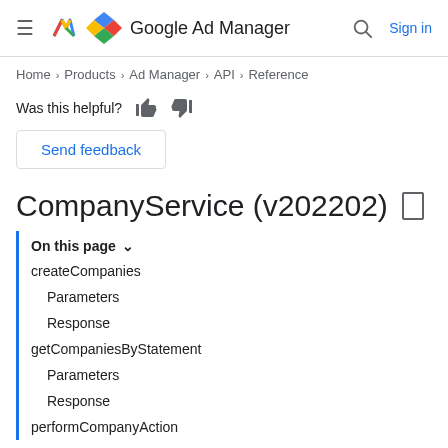Google Ad Manager — Sign in
Home > Products > Ad Manager > API > Reference
Was this helpful?
Send feedback
CompanyService (v202202)
On this page
createCompanies
Parameters
Response
getCompaniesByStatement
Parameters
Response
performCompanyAction